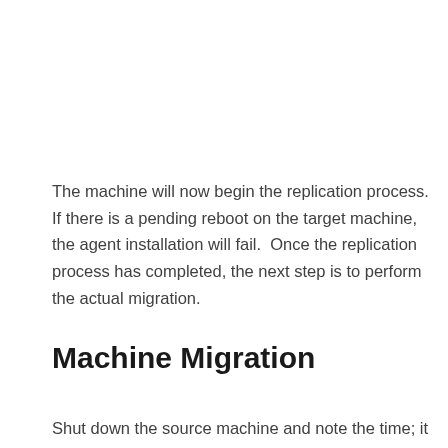The machine will now begin the replication process. If there is a pending reboot on the target machine, the agent installation will fail.  Once the replication process has completed, the next step is to perform the actual migration.
Machine Migration
Shut down the source machine and note the time; it